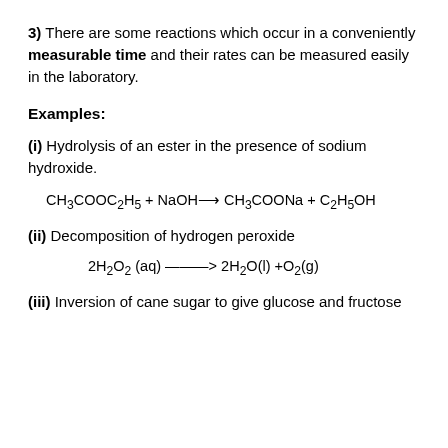3) There are some reactions which occur in a conveniently measurable time and their rates can be measured easily in the laboratory.
Examples:
(i) Hydrolysis of an ester in the presence of sodium hydroxide.
(ii) Decomposition of hydrogen peroxide
(iii) Inversion of cane sugar to give glucose and fructose